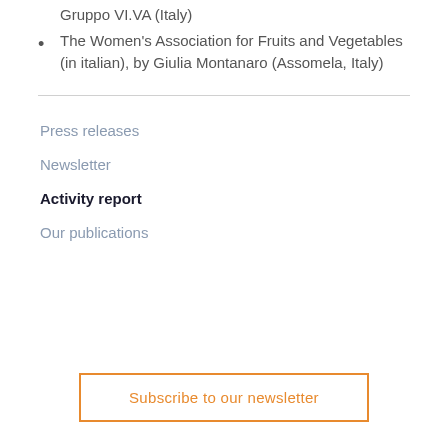Gruppo VI.VA (Italy)
The Women's Association for Fruits and Vegetables (in italian), by Giulia Montanaro (Assomela, Italy)
Press releases
Newsletter
Activity report
Our publications
Subscribe to our newsletter